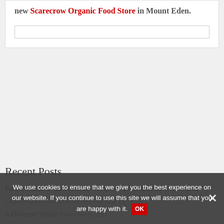new Scarecrow Organic Food Store in Mount Eden.
Recent Posts
Pacific Cacao & Chocolate 22 – Nine Must Go Reasons July 19, 2022
Choose Your Slow Workshop Now May 15, 2022
A Different Spring November 5, 2021
New Events and Slow News for Winter July 5, 2021
We use cookies to ensure that we give you the best experience on our website. If you continue to use this site we will assume that you are happy with it.